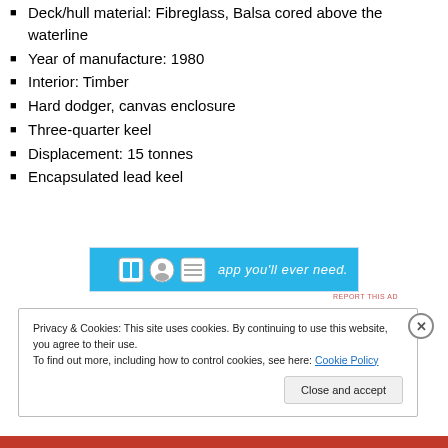Deck/hull material: Fibreglass, Balsa cored above the waterline
Year of manufacture: 1980
Interior: Timber
Hard dodger, canvas enclosure
Three-quarter keel
Displacement: 15 tonnes
Encapsulated lead keel
[Figure (screenshot): Advertisement banner with blue background showing app icons and text 'app you’ll ever need.']
Privacy & Cookies: This site uses cookies. By continuing to use this website, you agree to their use. To find out more, including how to control cookies, see here: Cookie Policy
Close and accept